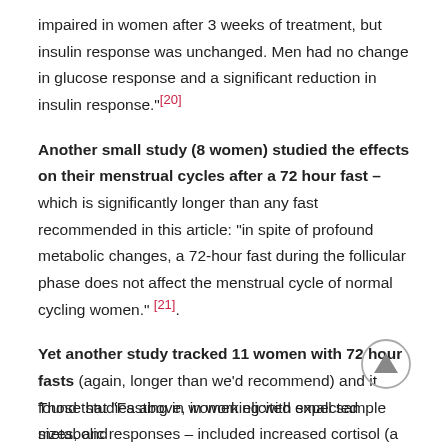impaired in women after 3 weeks of treatment, but insulin response was unchanged. Men had no change in glucose response and a significant reduction in insulin response."[20]
Another small study (8 women) studied the effects on their menstrual cycles after a 72 hour fast – which is significantly longer than any fast recommended in this article: "in spite of profound metabolic changes, a 72-hour fast during the follicular phase does not affect the menstrual cycle of normal cycling women." [21].
Yet another study tracked 11 women with 72 hour fasts (again, longer than we'd recommend) and it found that "Fasting in women elicited expected metabolic responses – included increased cortisol (a stress hormone) – and apparently advanced the central circadian clock (which can throw off sleeping patterns). [22]
Those studies above, in working with small sample sizes, and